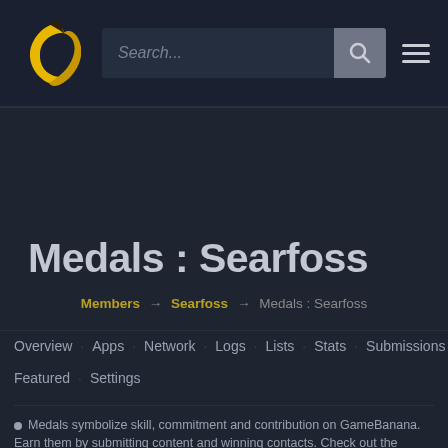GameBanana – Search... [search bar] [hamburger menu]
Medals : Searfoss
Members → Searfoss → Medals : Searfoss
Overview · Apps · Network · Logs · Lists · Stats · Submissions · Featured · Settings
Medals symbolize skill, commitment and contribution on GameBanana. Earn them by submitting content and winning contacts. Check out the